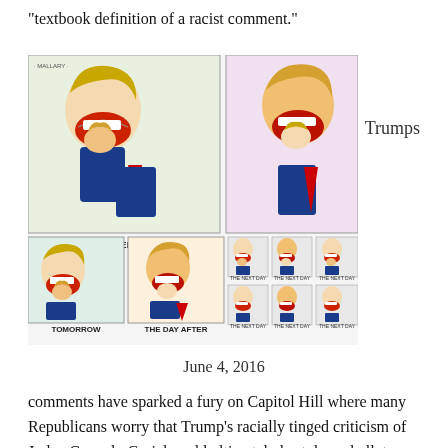“textbook definition of a racist comment.”
[Figure (illustration): Political cartoon by Mallary showing caricatures of Hillary Clinton and Donald Trump biting each other's heads across multiple panels labeled: YESTERDAY, TODAY, TOMORROW, THE DAY AFTER, and several panels labeled THE NEXT DAY]
Trumps
June 4, 2016
comments have sparked a fury on Capitol Hill where many Republicans worry that Trump’s racially tinged criticism of Judge Gonzalo Curiel could ultimately hurt down-ballot